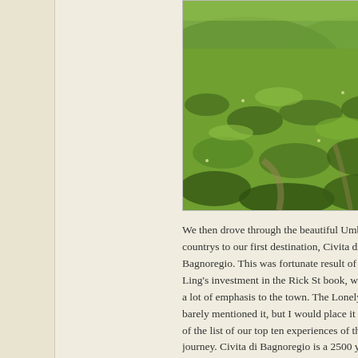[Figure (photo): Lush green Umbrian countryside with low shrubs and wildflowers, partial view cropped at right edge]
We then drove through the beautiful Umbrian countryside to our first destination, Civita di Bagnoregio. This was fortunate result of Mei Ling's investment in the Rick St book, which gave a lot of emphasis to the town. The Lonely Planet barely mentioned it, but I would place it the middle of the list of our top ten experiences of the entire journey. Civita di Bagnoregio is a 2500 year old ghost town on a crumbling plateau connected to the mo village of Bagnoregio via a steep footbridge. We were fortunate to arrive in Bagnoregio on market day so w...